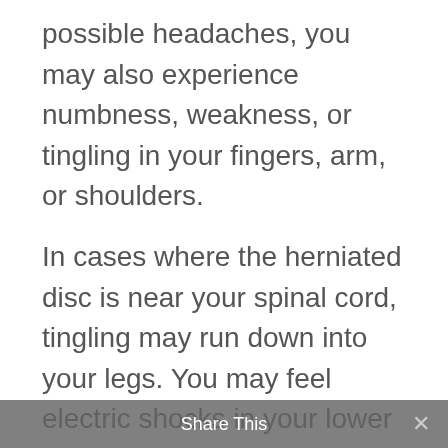possible headaches, you may also experience numbness, weakness, or tingling in your fingers, arm, or shoulders.
In cases where the herniated disc is near your spinal cord, tingling may run down into your legs. You may feel electric shocks in your lower body or have problems with balance and coordination.
The headaches that happen due to neck pain may result in a dull nagging pain, which can persist in your head and neck. Depending on what cervical nerves are affected, you may have sharp shooting pains that will affect the temple, behind one eye, or at the back of the skull. Often the type of pain that is associated with this problem can feel like
Share This